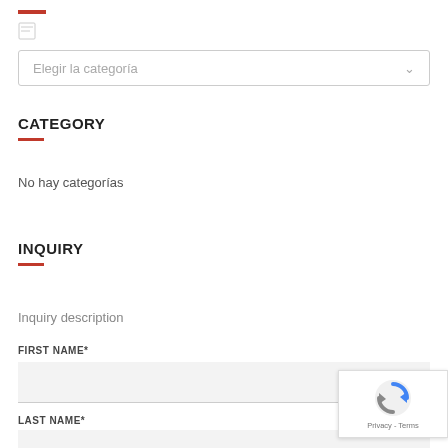[Figure (screenshot): Dropdown select box with placeholder text 'Elegir la categoría' and a downward arrow chevron]
CATEGORY
No hay categorías
INQUIRY
Inquiry description
FIRST NAME*
LAST NAME*
[Figure (logo): reCAPTCHA badge with spinning arrow logo and 'Privacy - Terms' text]